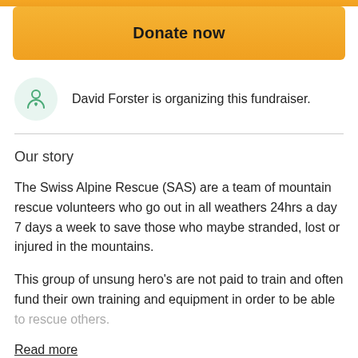[Figure (other): Orange top bar strip]
Donate now
[Figure (other): Person with heart icon in mint green circle]
David Forster is organizing this fundraiser.
Our story
The Swiss Alpine Rescue (SAS) are a team of mountain rescue volunteers who go out in all weathers 24hrs a day 7 days a week to save those who maybe stranded, lost or injured in the mountains.
This group of unsung hero's are not paid to train and often fund their own training and equipment in order to be able to rescue others.
Read more